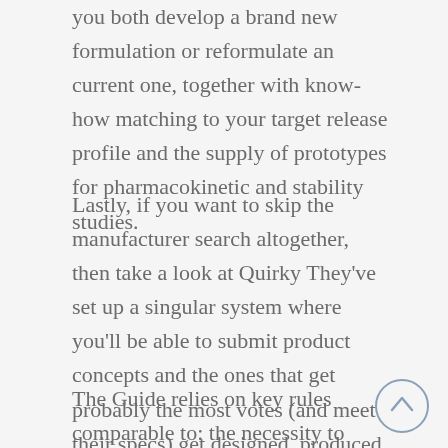you both develop a brand new formulation or reformulate an current one, together with know-how matching to your target release profile and the supply of prototypes for pharmacokinetic and stability studies.
Lastly, if you want to skip the manufacturer search altogether, then take a look at Quirky They've set up a singular system where you'll be able to submit product concepts and the ones that get probably the most votes (and meet their specs) get designed, produced and bought on their website.
The Guide relies on key rules comparable to: the necessity to perceive product and process